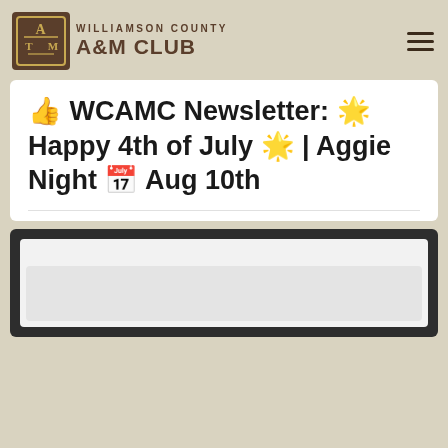[Figure (logo): Williamson County A&M Club logo with Texas A&M ATM shield emblem on left and text 'WILLIAMSON COUNTY A&M CLUB' on right]
👍 WCAMC Newsletter: 🌟 Happy 4th of July 🌟 | Aggie Night 📅 Aug 10th
[Figure (screenshot): Dark-background card with nested light-colored inner cards, partially cut off at bottom of page]